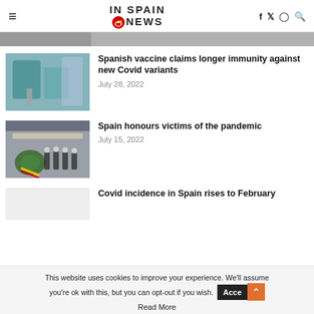IN SPAIN NEWS
[Figure (photo): Cropped top image strip showing partial news article photo]
[Figure (photo): Medical professional in gloves administering a vaccine injection]
Spanish vaccine claims longer immunity against new Covid variants
July 28, 2022
[Figure (photo): Military or official figures in uniform carrying a floral wreath with yellow and red ribbon]
Spain honours victims of the pandemic
July 15, 2022
[Figure (photo): Partial/blank image placeholder for third article]
Covid incidence in Spain rises to February
This website uses cookies to improve your experience. We'll assume you're ok with this, but you can opt-out if you wish.
Read More